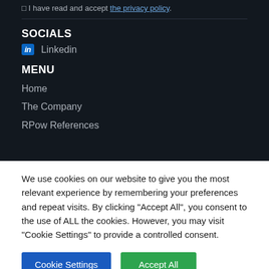I have read and accept the privacy policy.
SOCIALS
in  Linkedin
MENU
Home
The Company
RPow References
We use cookies on our website to give you the most relevant experience by remembering your preferences and repeat visits. By clicking "Accept All", you consent to the use of ALL the cookies. However, you may visit "Cookie Settings" to provide a controlled consent.
Cookie Settings
Accept All